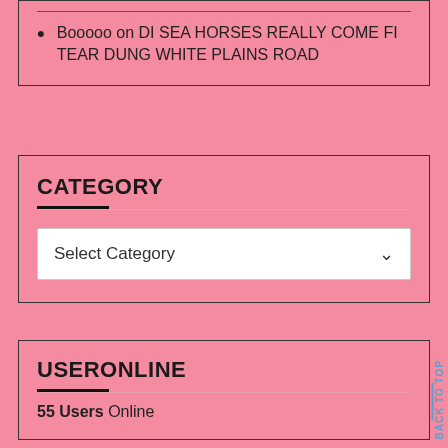Booooo on DI SEA HORSES REALLY COME FI TEAR DUNG WHITE PLAINS ROAD
CATEGORY
Select Category
USERONLINE
55 Users Online